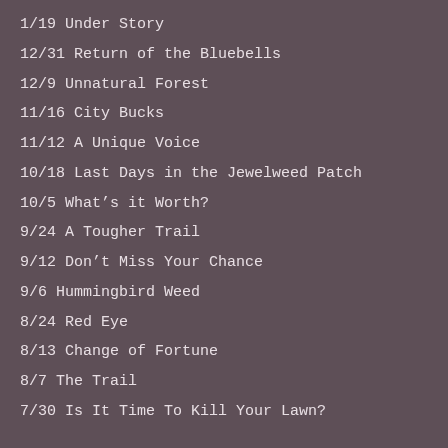1/19 Under Story
12/31 Return of the Bluebells
12/9 Unnatural Forest
11/16 City Bucks
11/12 A Unique Voice
10/18 Last Days in the Jewelweed Patch
10/5 What’s it Worth?
9/24 A Tougher Trail
9/12 Don’t Miss Your Chance
9/6 Hummingbird Weed
8/24 Red Eye
8/13 Change of Fortune
8/7 The Trail
7/30 Is It Time To Kill Your Lawn?